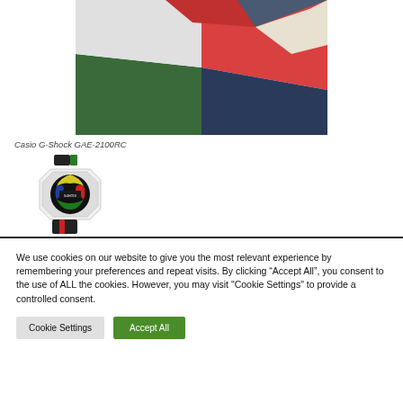[Figure (photo): Partial view of a colorful geometric box with red, blue, green, and white triangular panels — product packaging for Casio G-Shock watch]
Casio G-Shock GAE-2100RC
[Figure (photo): Casio G-Shock GAE-2100RC watch with white octagonal case, dark bands with green and red accents, and a colorful dial featuring yellow, red, blue and green patterns]
We use cookies on our website to give you the most relevant experience by remembering your preferences and repeat visits. By clicking “Accept All”, you consent to the use of ALL the cookies. However, you may visit "Cookie Settings" to provide a controlled consent.
Cookie Settings
Accept All